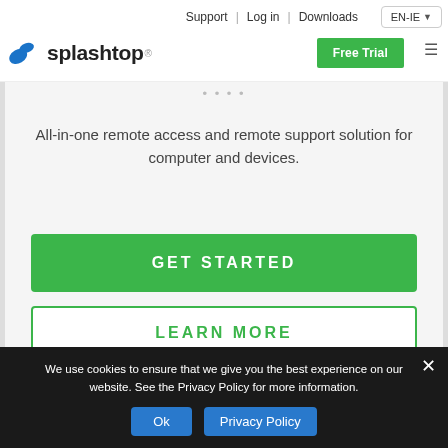Support | Log in | Downloads  EN-IE
[Figure (logo): Splashtop logo with blue splash icon and bold 'splashtop' wordmark]
All-in-one remote access and remote support solution for computer and devices.
GET STARTED
LEARN MORE
We use cookies to ensure that we give you the best experience on our website. See the Privacy Policy for more information.
Ok
Privacy Policy